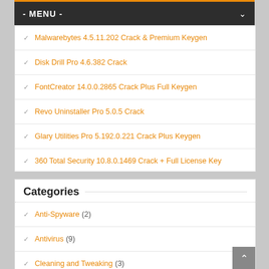- MENU -
Malwarebytes 4.5.11.202 Crack & Premium Keygen
Disk Drill Pro 4.6.382 Crack
FontCreator 14.0.0.2865 Crack Plus Full Keygen
Revo Uninstaller Pro 5.0.5 Crack
Glary Utilities Pro 5.192.0.221 Crack Plus Keygen
360 Total Security 10.8.0.1469 Crack + Full License Key
Categories
Anti-Spyware (2)
Antivirus (9)
Cleaning and Tweaking (3)
Converter (1)